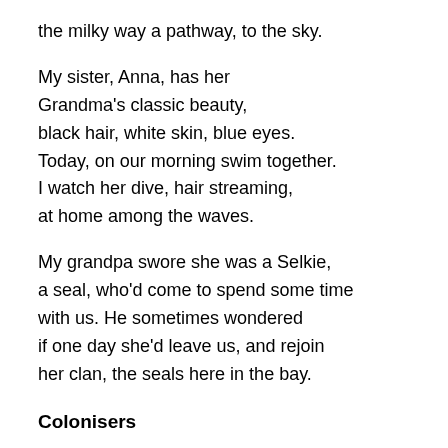the milky way a pathway, to the sky.
My sister, Anna, has her
Grandma's classic beauty,
black hair, white skin, blue eyes.
Today, on our morning swim together.
I watch her dive, hair streaming,
at home among the waves.
My grandpa swore she was a Selkie,
a seal, who'd come to spend some time
with us. He sometimes wondered
if one day she'd leave us, and rejoin
her clan, the seals here in the bay.
Colonisers
You won't find these in the bush.